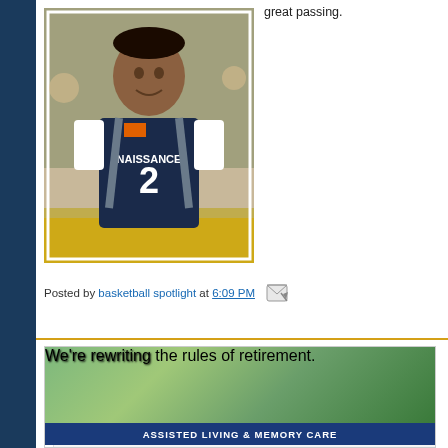[Figure (photo): A young basketball player wearing a dark navy jersey with number 2 and the word NAISSANCE, carrying a backpack, standing in what appears to be a gym or sports facility.]
great passing.
Posted by basketball spotlight at 6:09 PM
[Figure (photo): Advertisement for Assisted Living & Memory Care. Shows elderly person in pink top writing/drawing at a table. Text reads: We're rewriting the rules of retirement. ASSISTED LIVING & MEMORY CARE. Holistic programs]
Holistic programs